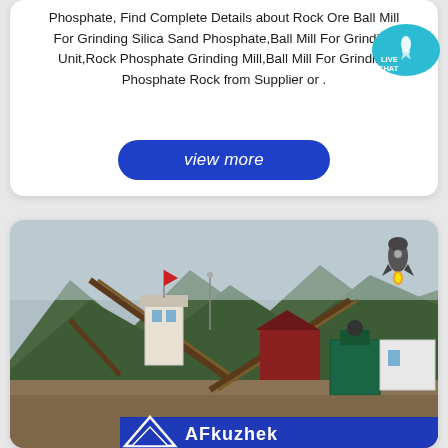Phosphate, Find Complete Details about Rock Ore Ball Mill For Grinding Silica Sand Phosphate,Ball Mill For Grinding Unit,Rock Phosphate Grinding Mill,Ball Mill For Grinding Phosphate Rock from Supplier or .
[Figure (illustration): Live chat bubble icon — teal speech bubble with rocket/chat icon and text LIVE CHAT]
[Figure (other): Blue rounded button with italic text 'view more']
[Figure (photo): Industrial mining/crushing plant with conveyor belts, mountains in background, a control tower with a red flag, and the AFkuzhek (or similar brand) logo banner at the bottom. A rocket icon appears in the top-right corner of the card.]